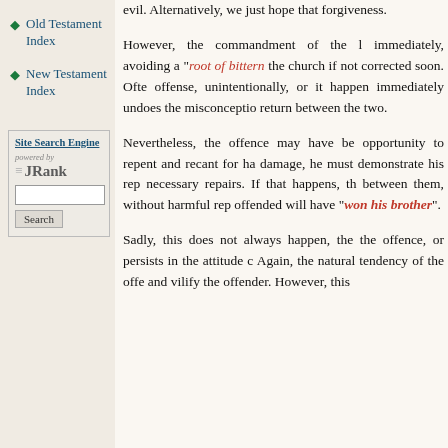Old Testament Index
New Testament Index
Site Search Engine
[Figure (screenshot): JRank search engine widget with 'powered by' label, text input field, and Search button]
evil. Alternatively, we just hope that forgiveness.
However, the commandment of the l immediately, avoiding a "root of bittern the church if not corrected soon. Ofte offense, unintentionally, or it happen immediately undoes the misconceptio return between the two.
Nevertheless, the offence may have be opportunity to repent and recant for ha damage, he must demonstrate his rep necessary repairs. If that happens, th between them, without harmful rep offended will have "won his brother".
Sadly, this does not always happen, the the offence, or persists in the attitude c Again, the natural tendency of the offe and vilify the offender. However, this